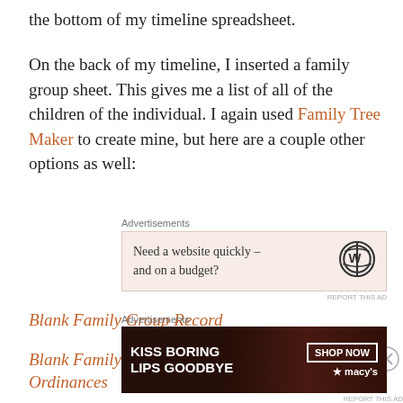the bottom of my timeline spreadsheet.
On the back of my timeline, I inserted a family group sheet. This gives me a list of all of the children of the individual. I again used Family Tree Maker to create mine, but here are a couple other options as well:
[Figure (other): Advertisement box: 'Need a website quickly – and on a budget?' with WordPress logo]
Blank Family Group Record
Blank Family Group Record with LDS Ordinances
[Figure (other): Advertisement: KISS BORING LIPS GOODBYE with Macy's SHOP NOW button]